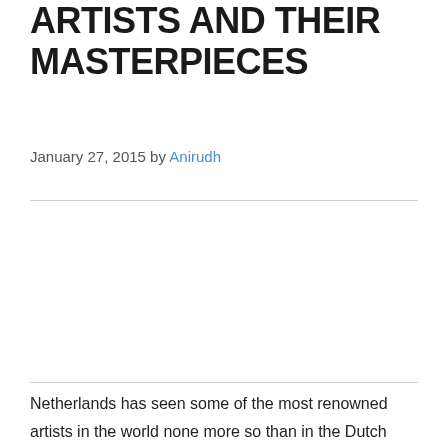ARTISTS AND THEIR MASTERPIECES
January 27, 2015 by Anirudh
[Figure (photo): Image placeholder area between two horizontal dividers]
Netherlands has seen some of the most renowned artists in the world none more so than in the Dutch